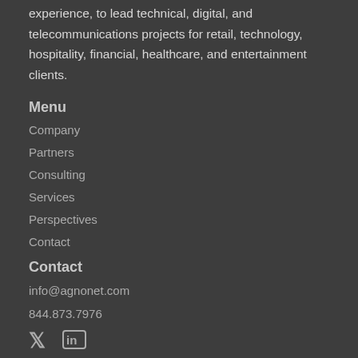experience, to lead technical, digital, and telecommunications projects for retail, technology, hospitality, financial, healthcare, and entertainment clients.
Menu
Company
Partners
Consulting
Services
Perspectives
Contact
Contact
info@agnonet.com
844.873.7976
[Figure (other): Twitter and LinkedIn social media icons]
© Agnostic Networks. All rights reserved. Site design by Avenue 4